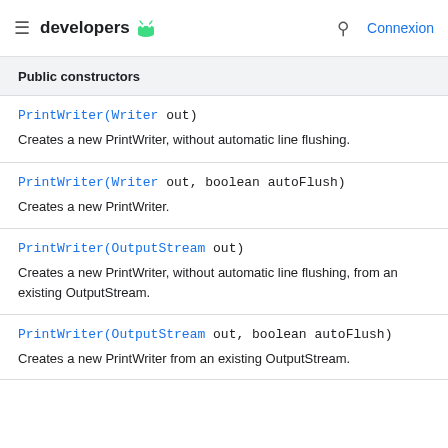developers | Connexion
Public constructors
PrintWriter(Writer out)
Creates a new PrintWriter, without automatic line flushing.
PrintWriter(Writer out, boolean autoFlush)
Creates a new PrintWriter.
PrintWriter(OutputStream out)
Creates a new PrintWriter, without automatic line flushing, from an existing OutputStream.
PrintWriter(OutputStream out, boolean autoFlush)
Creates a new PrintWriter from an existing OutputStream.